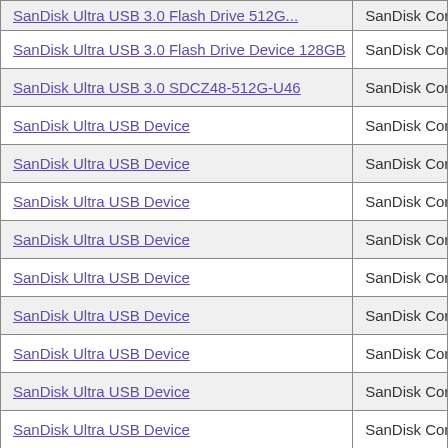| Product Name | Manufacturer |
| --- | --- |
| SanDisk Ultra USB 3.0 Flash Drive 512GB (partial) | SanDisk Corp |
| SanDisk Ultra USB 3.0 Flash Drive Device 128GB | SanDisk Corp |
| SanDisk Ultra USB 3.0 SDCZ48-512G-U46 | SanDisk Corp |
| SanDisk Ultra USB Device | SanDisk Corp |
| SanDisk Ultra USB Device | SanDisk Corp |
| SanDisk Ultra USB Device | SanDisk Corp |
| SanDisk Ultra USB Device | SanDisk Corp |
| SanDisk Ultra USB Device | SanDisk Corp |
| SanDisk Ultra USB Device | SanDisk Corp |
| SanDisk Ultra USB Device | SanDisk Corp |
| SanDisk Ultra USB Device | SanDisk Corp |
| SanDisk Ultra USB Device | SanDisk Corp |
| SanDisk Ultra USB Device | SanDisk Corp |
| SanDisk Ultra USB Device | SanDisk Corp |
| SanDisk Ultra USB Device | SanDisk Corp |
| SanDisk Ultra USB Device | SanDisk Corp |